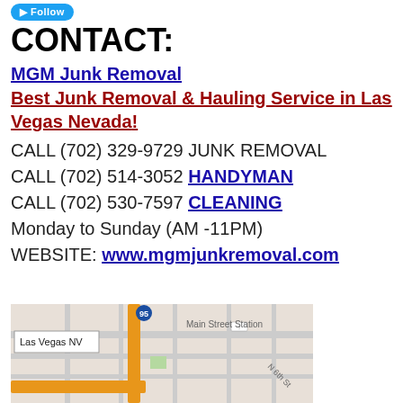[Figure (other): Blue Follow button (Twitter/social media style)]
CONTACT:
MGM Junk Removal
Best Junk Removal & Hauling Service in Las Vegas Nevada!
CALL (702) 329-9729 JUNK REMOVAL
CALL (702) 514-3052 HANDYMAN
CALL (702) 530-7597 CLEANING
Monday to Sunday (AM -11PM)
WEBSITE: www.mgmjunkremoval.com
[Figure (map): Map showing Las Vegas NV area with Main Street Station visible and N 6th St, highway 95 marker, orange roads]